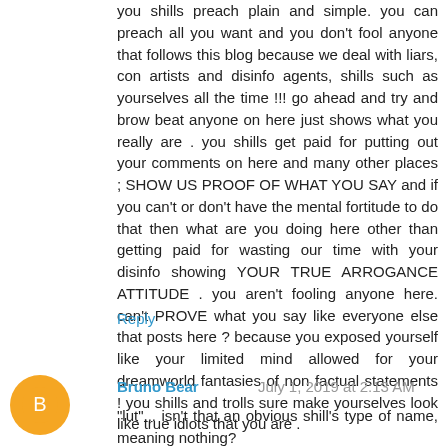you shills preach plain and simple. you can preach all you want and you don't fool anyone that follows this blog because we deal with liars, con artists and disinfo agents, shills such as yourselves all the time !!! go ahead and try and brow beat anyone on here just shows what you really are . you shills get paid for putting out your comments on here and many other places ; SHOW US PROOF OF WHAT YOU SAY and if you can't or don't have the mental fortitude to do that then what are you doing here other than getting paid for wasting our time with your disinfo showing YOUR TRUE ARROGANCE ATTITUDE . you aren't fooling anyone here. can't PROVE what you say like everyone else that posts here ? because you exposed yourself like your limited mind allowed for your dreamworld fantasies of non factual statements ! you shills and trolls sure make yourselves look like true idiots that you are .
Reply
Bruno Bear  July 1, 2019 at 2:13 AM
"lut"... isn't that an obvious shill's type of name, meaning nothing?